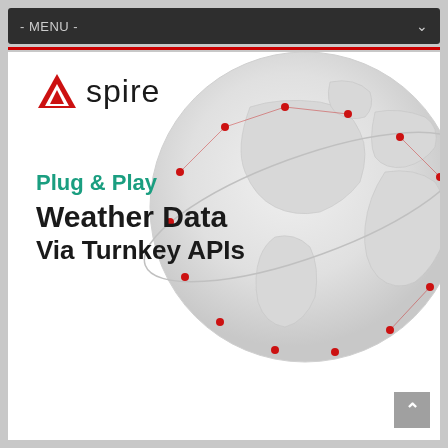- MENU -
[Figure (logo): Spire logo with red triangle icon and 'spire' wordmark in dark text]
[Figure (illustration): Globe/earth illustration in light gray with red dots connected by lines representing satellite network coverage]
Plug & Play
Weather Data Via Turnkey APIs
Learn More